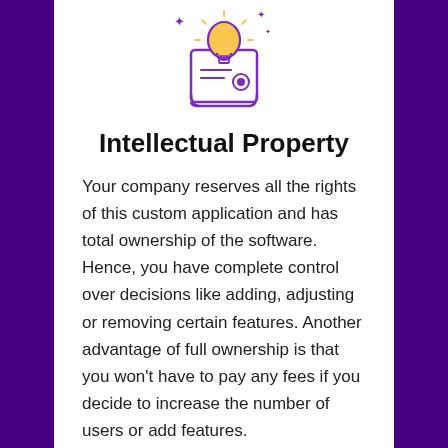[Figure (illustration): A purple line-art icon of a certificate/scroll with a glowing yellow light bulb on top, decorative sparkles around it, and a ribbon/medal seal on the front. Purple and yellow color scheme.]
Intellectual Property
Your company reserves all the rights of this custom application and has total ownership of the software. Hence, you have complete control over decisions like adding, adjusting or removing certain features. Another advantage of full ownership is that you won't have to pay any fees if you decide to increase the number of users or add features.